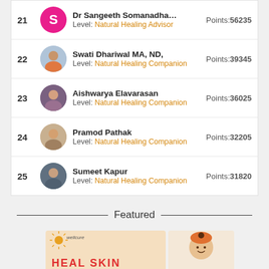21 Dr Sangeeth Somanadha... Level: Natural Healing Advisor Points:56235
22 Swati Dhariwal MA, ND, Level: Natural Healing Companion Points:39345
23 Aishwarya Elavarasan Level: Natural Healing Companion Points:36025
24 Pramod Pathak Level: Natural Healing Companion Points:32205
25 Sumeet Kapur Level: Natural Healing Companion Points:31820
Featured
[Figure (infographic): Wellcure HEAL SKIN advertisement banner with illustrated character]